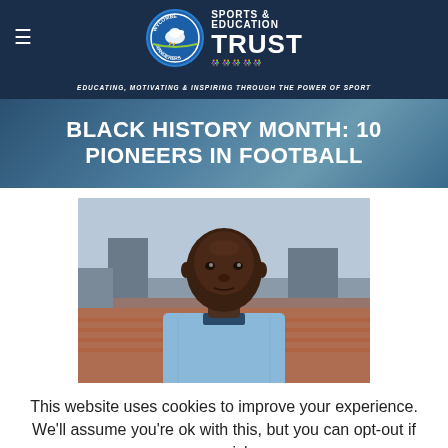[Figure (logo): Wycombe Wanderers Sports & Education Trust logo with badge and tagline: EDUCATING, MOTIVATING & INSPIRING THROUGH THE POWER OF SPORT]
BLACK HISTORY MONTH: 10 PIONEERS IN FOOTBALL
[Figure (photo): Black and white/colour photo of a Black football player in a light blue jersey, photographed outdoors near a stadium]
This website uses cookies to improve your experience. We'll assume you're ok with this, but you can opt-out if you wish.
Accept   Read More